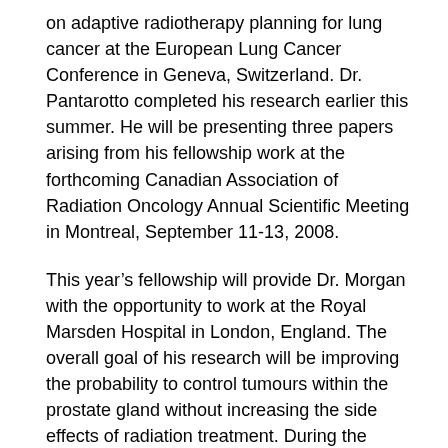on adaptive radiotherapy planning for lung cancer at the European Lung Cancer Conference in Geneva, Switzerland. Dr. Pantarotto completed his research earlier this summer. He will be presenting three papers arising from his fellowship work at the forthcoming Canadian Association of Radiation Oncology Annual Scientific Meeting in Montreal, September 11-13, 2008.
This year's fellowship will provide Dr. Morgan with the opportunity to work at the Royal Marsden Hospital in London, England. The overall goal of his research will be improving the probability to control tumours within the prostate gland without increasing the side effects of radiation treatment. During the course of the fellowship, his team will conduct a clinical trial involving new imaging techniques for identifying prostate cancer within the prostate gland and precisely targeting these regions of cancer with radiation treatment.